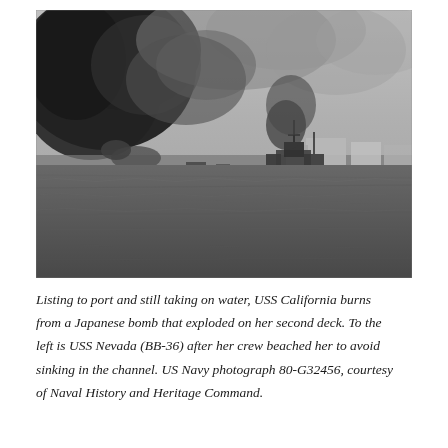[Figure (photo): Black and white historical photograph of Pearl Harbor attack. Shows USS California listing to port with smoke billowing from fires. USS Nevada (BB-36) visible to the left beached to avoid sinking in the channel. Large dark smoke plumes rise into the sky over the harbor and waterfront buildings. Water in the foreground shows rough texture.]
Listing to port and still taking on water, USS California burns from a Japanese bomb that exploded on her second deck. To the left is USS Nevada (BB-36) after her crew beached her to avoid sinking in the channel. US Navy photograph 80-G32456, courtesy of Naval History and Heritage Command.